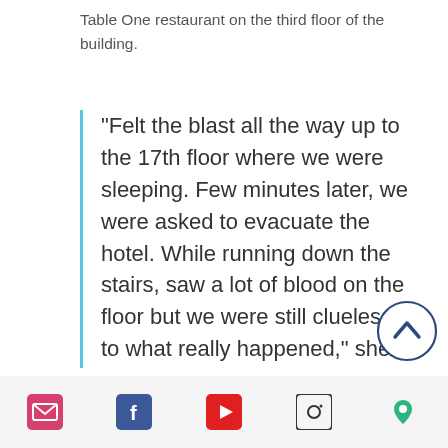Table One restaurant on the third floor of the building.
“Felt the blast all the way up to the 17th floor where we were sleeping. Few minutes later, we were asked to evacuate the hotel. While running down the stairs, saw a lot of blood on the floor but we were still clueless as to what really happened,” she wrote.
[Figure (other): Scroll-to-top circular button with upward chevron icon, dark blue outline]
Email | Facebook | YouTube | Instagram | Location icons